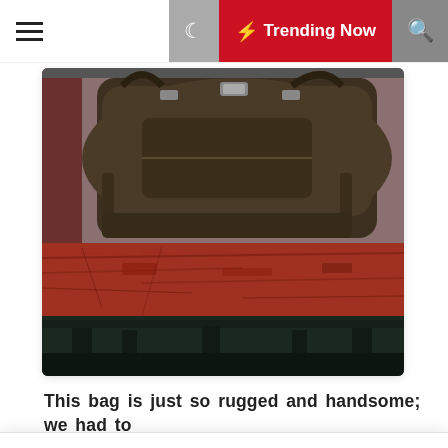≡  [moon icon]  ⚡ Trending Now  [search icon]
[Figure (photo): A dark brown canvas/leather duffle bag resting on a weathered red metal luggage cart or shelf, with a dark green/black industrial structure visible below. The bag has metal buckle hardware and appears rugged and well-used.]
This bag is just so rugged and handsome; we had to
We use cookies on our website to give you the most relevant experience by remembering your preferences and repeat visits. By clicking "Accept All", you consent to the use of ALL the cookies. However, you may visit "Cookie Settings" to provide a controlled consent.